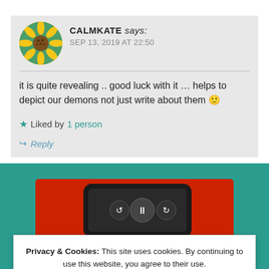CALMKATE says:
SEP 13, 2019 AT 22:50
it is quite revealing .. good luck with it ... helps to depict our demons not just write about them 🙂
★ Liked by 1 person
↪ Reply
[Figure (photo): Red smartphone showing media player controls (pause, replay, skip buttons) on a dark screen]
Privacy & Cookies: This site uses cookies. By continuing to use this website, you agree to their use.
To find out more, including how to control cookies, see here: Cookie Policy